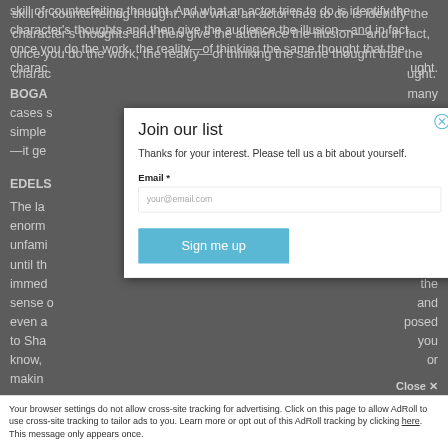skill of counterfeiting thought. And what an actor tries to do is identify the character's thoughts and then give the audience the illusion—and in fact, once you do the work, the reality—of thinking the same thought that the character is thinking on stage. It's a skill of counterfeiting thought.
BOGAEV: I can see how identifying with a character would take away... in many cases some of the critical faculty that you'd need... His very simple language—it gets more and more simplistic as the play goes on— —it gets harder and harder to inhabit.
EDELSTEIN: Well, I think you're right, but I'd say it's even more challenging for us. The language is very foreign to us and the context is very foreign... and enormous violence—it's this compound of the familiar—we know what kind of unfamiliar circumstances they're placed in—and yet the language is work until the very end... and yet you feel the sense of... there are immediately accessible... the sense of... and even a certain kind of... opposed to Shakespeare where you know, or making...
[Figure (screenshot): Modal overlay with 'Join our list' newsletter signup form containing email input field and 'Sign me up' button]
Your browser settings do not allow cross-site tracking for advertising. Click on this page to allow AdRoll to use cross-site tracking to tailor ads to you. Learn more or opt out of this AdRoll tracking by clicking here. This message only appears once.